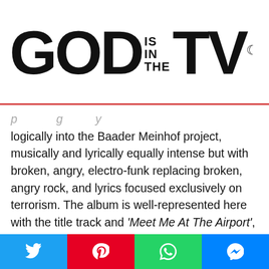GOD IS IN THE TV
logically into the Baader Meinhof project, musically and lyrically equally intense but with broken, angry, electro-funk replacing broken, angry rock, and lyrics focused exclusively on terrorism. The album is well-represented here with the title track and ‘Meet Me At The Airport’, as well as the only non-album track, the excellent ‘I’ve Been A Fool For You’ and, for completists, a devastatingly cool remix of ‘There’s Gonna Be An Accident’.
[Figure (screenshot): YouTube-style embedded video player showing 'Baader Meinhof - Meet me at the airpor...' with TV test card thumbnail on the left and album art on the right]
Twitter | Pinterest | WhatsApp | Messenger social share buttons